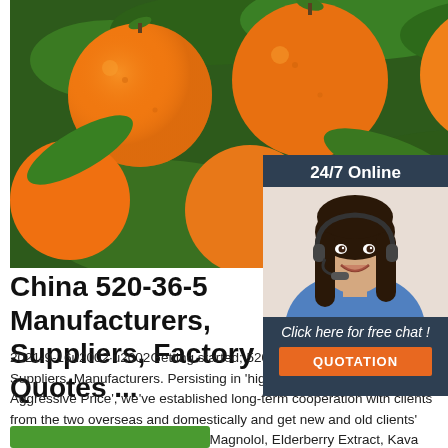[Figure (photo): Close-up photo of ripe orange fruits hanging on a tree with green leaves]
[Figure (infographic): 24/7 Online chat widget with female agent wearing headset, 'Click here for free chat!' text, and orange QUOTATION button]
China 520-36-5 Manufacturers, Suppliers, Factory Quotes ...
2021-9-16u2002·u2002Getting started; 520-36-5; China Factory, Suppliers, Manufacturers. Persisting in 'high quality, Prompt Delivery, Aggressive Price', we've established long-term cooperation with clients from the two overseas and domestically and get new and old clients' superior comments for 520-36-5, Magnolol, Elderberry Extract, Kava Co2 Extract,Nigella Sativa Extract …